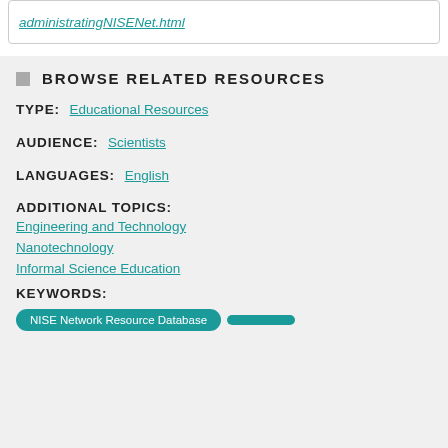administratingNISENet.html
BROWSE RELATED RESOURCES
TYPE: Educational Resources
AUDIENCE: Scientists
LANGUAGES: English
ADDITIONAL TOPICS: Engineering and Technology, Nanotechnology, Informal Science Education
KEYWORDS:
NISE Network Resource Database